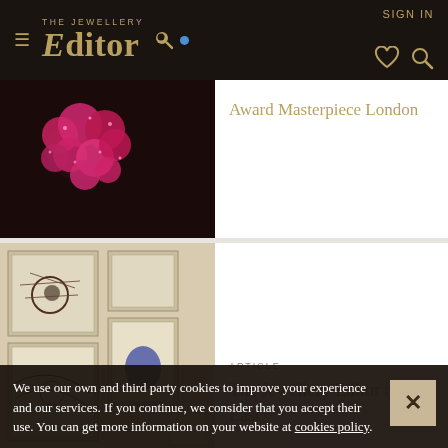THE JEWELLERY EDITOR — SIGN IN
Award Masterpiece London
[Figure (photo): Close-up photograph of vibrant pink/magenta floral jewellery pieces on a dark background]
ARTICLE
The Jewellery Editor heads East
[Figure (photo): Interior of a jewellery boutique showing framed display cases on a wall with jewellery pieces]
We use our own and third party cookies to improve your experience and our services. If you continue, we consider that you accept their use. You can get more information on your website at cookies policy.